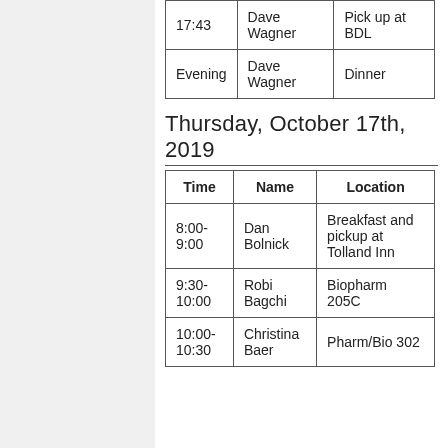| 17:43 | Dave Wagner | Pick up at BDL |
| Evening | Dave Wagner | Dinner |
Thursday, October 17th, 2019
| Time | Name | Location |
| --- | --- | --- |
| 8:00-9:00 | Dan Bolnick | Breakfast and pickup at Tolland Inn |
| 9:30-10:00 | Robi Bagchi | Biopharm 205C |
| 10:00-10:30 | Christina Baer | Pharm/Bio 302 |